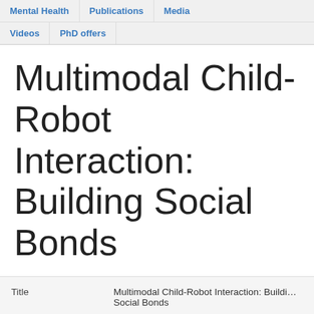Mental Health | Publications | Media | Videos | PhD offers
Multimodal Child-Robot Interaction: Building Social Bonds
| Field | Value |
| --- | --- |
| Title | Multimodal Child-Robot Interaction: Building Social Bonds |
| Publication Type | Journal Article |